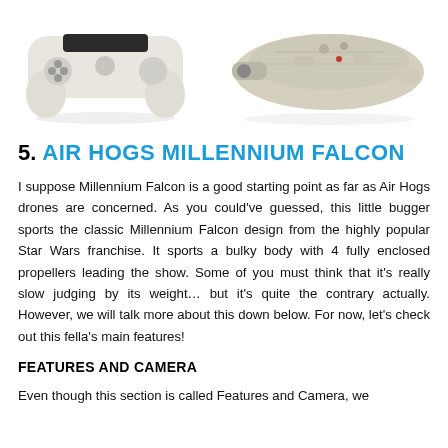[Figure (photo): Two product photos side by side: left shows a game controller drone (Air Hogs), right shows a Millennium Falcon drone model]
5. AIR HOGS MILLENNIUM FALCON
I suppose Millennium Falcon is a good starting point as far as Air Hogs drones are concerned. As you could've guessed, this little bugger sports the classic Millennium Falcon design from the highly popular Star Wars franchise. It sports a bulky body with 4 fully enclosed propellers leading the show. Some of you must think that it's really slow judging by its weight… but it's quite the contrary actually. However, we will talk more about this down below. For now, let's check out this fella's main features!
FEATURES AND CAMERA
Even though this section is called Features and Camera, we